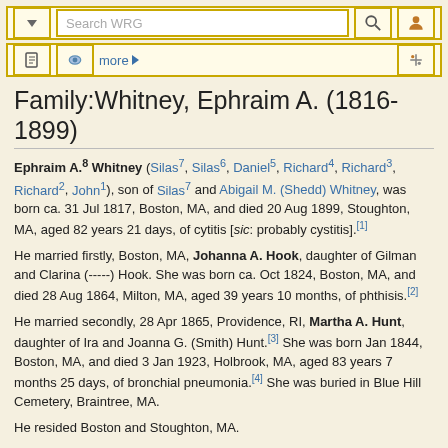Search WRG toolbar with navigation icons
Family:Whitney, Ephraim A. (1816-1899)
Ephraim A.8 Whitney (Silas7, Silas6, Daniel5, Richard4, Richard3, Richard2, John1), son of Silas7 and Abigail M. (Shedd) Whitney, was born ca. 31 Jul 1817, Boston, MA, and died 20 Aug 1899, Stoughton, MA, aged 82 years 21 days, of cytitis [sic: probably cystitis].[1]
He married firstly, Boston, MA, Johanna A. Hook, daughter of Gilman and Clarina (-----) Hook. She was born ca. Oct 1824, Boston, MA, and died 28 Aug 1864, Milton, MA, aged 39 years 10 months, of phthisis.[2]
He married secondly, 28 Apr 1865, Providence, RI, Martha A. Hunt, daughter of Ira and Joanna G. (Smith) Hunt.[3] She was born Jan 1844, Boston, MA, and died 3 Jan 1923, Holbrook, MA, aged 83 years 7 months 25 days, of bronchial pneumonia.[4] She was buried in Blue Hill Cemetery, Braintree, MA.
He resided Boston and Stoughton, MA.